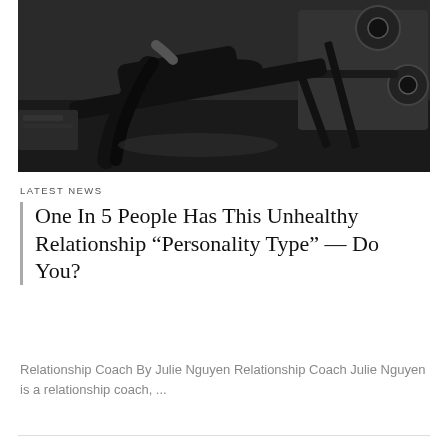[Figure (photo): Woman exercising on a gym machine, lying back on an incline bench in workout clothes, black equipment visible in background]
LATEST NEWS
One In 5 People Has This Unhealthy Relationship “Personality Type” — Do You?
Relationship Coach By Julie Nguyen Relationship Coach Julie Nguyen is a relationship coach, ...